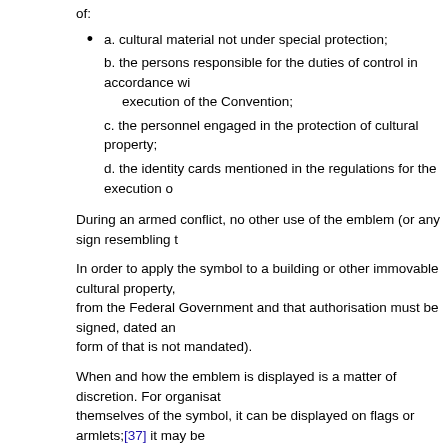of:
a. cultural material not under special protection;
b. the persons responsible for the duties of control in accordance with the execution of the Convention;
c. the personnel engaged in the protection of cultural property;
d. the identity cards mentioned in the regulations for the execution o
During an armed conflict, no other use of the emblem (or any sign resembling t
In order to apply the symbol to a building or other immovable cultural property, from the Federal Government and that authorisation must be signed, dated and form of that is not mandated).
When and how the emblem is displayed is a matter of discretion. For organisat themselves of the symbol, it can be displayed on flags or armlets;[37] it may be represented in any other appropriate form. It can be placed on vehicles or on b visible both from the air and from the ground. Further, it can be placed around t entrance of buildings, monuments or other immovable cultural property under s
The use of the emblem raises a number of important risk management questio organisations: